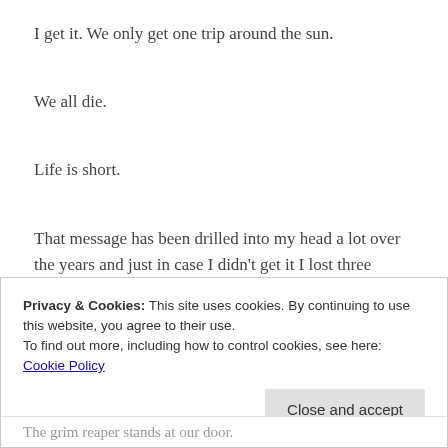I get it. We only get one trip around the sun.
We all die.
Life is short.
That message has been drilled into my head a lot over the years and just in case I didn't get it I lost three relatives in nine months and a handful of community members passed away as well.
Privacy & Cookies: This site uses cookies. By continuing to use this website, you agree to their use.
To find out more, including how to control cookies, see here: Cookie Policy
The grim reaper stands at our door.